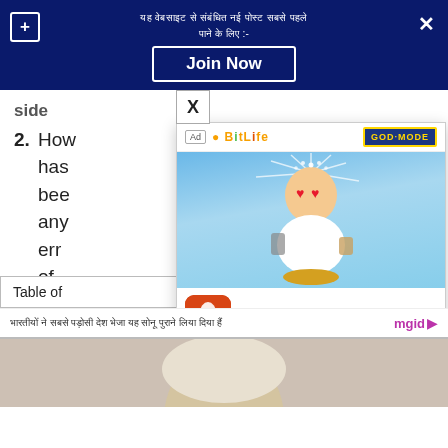Join Now — Hindi notification bar with close button
2. How the information has been... any errors... all of you... notice those...
Table of Contents
[Figure (screenshot): BitLife Life Simulator advertisement overlay with cartoon monk character with heart eyes, God Mode badge, BitLife logo, install button]
Hindi promotional text — mgid
[Figure (photo): Partial photo of a person with blonde/white hair at bottom of page]